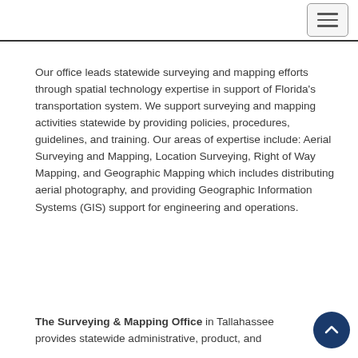[hamburger menu button]
Our office leads statewide surveying and mapping efforts through spatial technology expertise in support of Florida's transportation system. We support surveying and mapping activities statewide by providing policies, procedures, guidelines, and training. Our areas of expertise include: Aerial Surveying and Mapping, Location Surveying, Right of Way Mapping, and Geographic Mapping which includes distributing aerial photography, and providing Geographic Information Systems (GIS) support for engineering and operations.
The Surveying & Mapping Office in Tallahassee provides statewide administrative, product, and